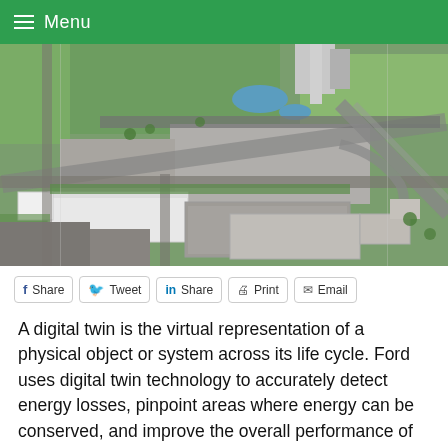Menu
[Figure (photo): Aerial view of Ford's Dearborn Research and Engineering Campus showing large industrial buildings, parking lots, and surrounding roads and green areas.]
Share  Tweet  Share  Print  Email
A digital twin is the virtual representation of a physical object or system across its life cycle. Ford uses digital twin technology to accurately detect energy losses, pinpoint areas where energy can be conserved, and improve the overall performance of production lines. At Ford's Dearborn Research and Engineering Campus Central Energy Plant